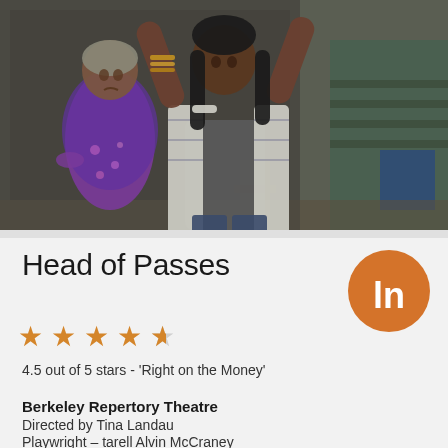[Figure (photo): Theatre production photo showing two women on stage. In the foreground, a woman with long dark hair wearing a plaid shirt has both arms raised. In the background, an older woman in a purple floral dress looks on with a concerned expression. Indoor stage set with stairs and furniture visible.]
Head of Passes
[Figure (logo): Orange circle with white lowercase letters 'ln' — Limelight Network or similar theatre review logo]
4.5 out of 5 stars - 'Right on the Money'
Berkeley Repertory Theatre
Directed by Tina Landau
Playwright - tarell Alvin McCraney